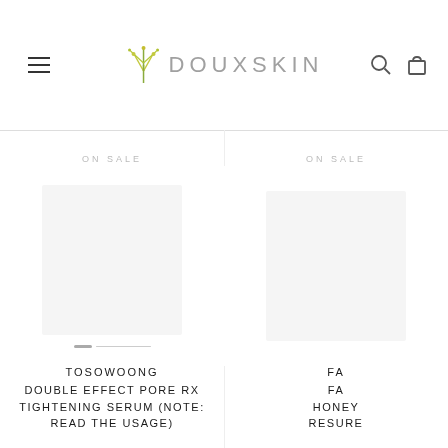DOUXSKIN
ON SALE
ON SALE
[Figure (photo): Product image placeholder for Tosowoong Double Effect Pore Rx Tightening Serum]
[Figure (photo): Product image placeholder (partially visible, second column)]
TOSOWOONG
DOUBLE EFFECT PORE RX TIGHTENING SERUM (NOTE: READ THE USAGE)
FA
FA HONEY RESURE